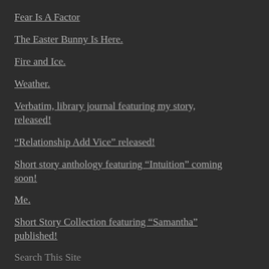Fear Is A Factor
The Easter Bunny Is Here.
Fire and Ice.
Weather.
Verbatim, library journal featuring my story, released!
“Relationship Add Vice” released!
Short story anthology featuring “Intuition” coming soon!
Me.
Short Story Collection featuring “Samantha” published!
Search This Site